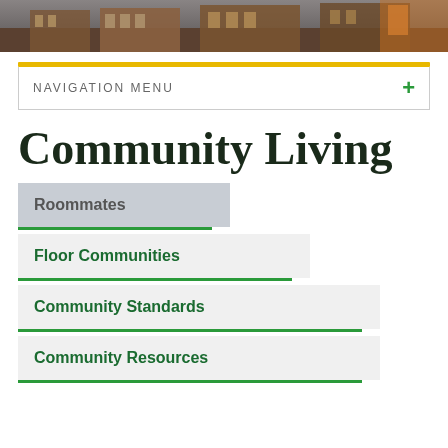[Figure (photo): Exterior photo of a brick university building with autumn foliage]
NAVIGATION MENU
Community Living
Roommates
Floor Communities
Community Standards
Community Resources